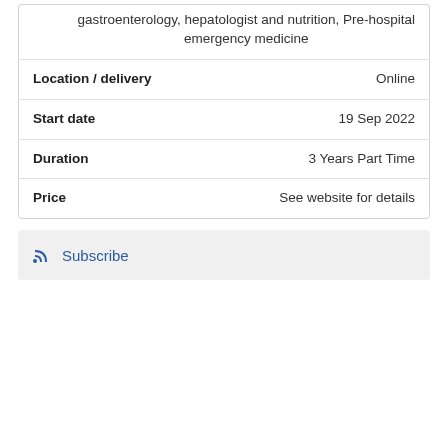gastroenterology, hepatologist and nutrition, Pre-hospital emergency medicine
| Location / delivery | Online |
| Start date | 19 Sep 2022 |
| Duration | 3 Years Part Time |
| Price | See website for details |
Subscribe